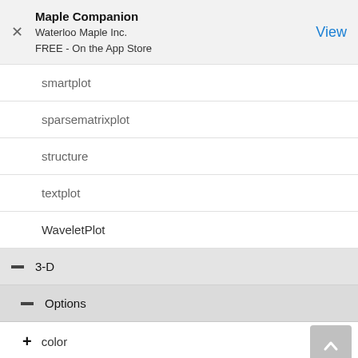Maple Companion
Waterloo Maple Inc.
FREE - On the App Store
smartplot
sparsematrixplot
structure
textplot
WaveletPlot
3-D
Options
color
colorscheme